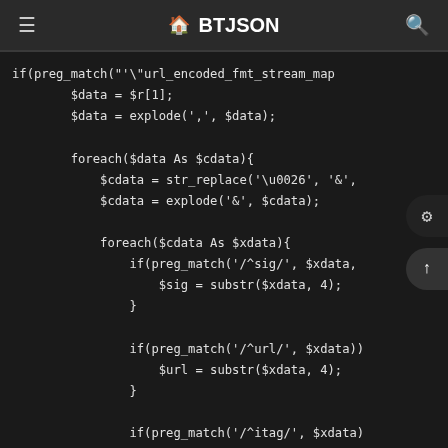≡ 🏠 BTJSON 🔍
if(preg_match('"url_encoded_fmt_stream_map
        $data = $r[1];
        $data = explode(',', $data);

        foreach($data As $cdata){
            $cdata = str_replace('\u0026', '&',
            $cdata = explode('&', $cdata);

            foreach($cdata As $xdata){
                if(preg_match('/^sig/', $xdata,
                    $sig = substr($xdata, 4);
                }

                if(preg_match('/^url/', $xdata))
                    $url = substr($xdata, 4);
                }

                if(preg_match('/^itag/', $xdata)
                    $type = substr($xdata, 5);
                }
            }
        }